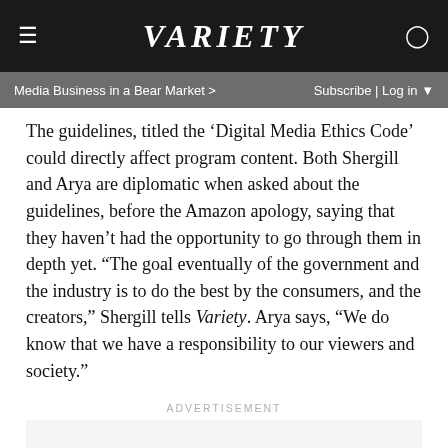VARIETY
Media Business in a Bear Market >   Subscribe | Log in
The guidelines, titled the ‘Digital Media Ethics Code’ could directly affect program content. Both Shergill and Arya are diplomatic when asked about the guidelines, before the Amazon apology, saying that they haven’t had the opportunity to go through them in depth yet. “The goal eventually of the government and the industry is to do the best by the consumers, and the creators,” Shergill tells Variety. Arya says, “We do know that we have a responsibility to our viewers and society.”
ADVERTISEMENT
Under the aegis of the Internet and Mobile Association of India, 17 streamers operating in India, including Netflix, Amazon and Disney signed a self-regulation code last year and produced a